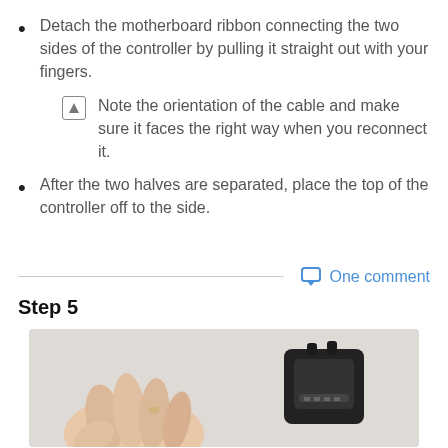Detach the motherboard ribbon connecting the two sides of the controller by pulling it straight out with your fingers.
Note the orientation of the cable and make sure it faces the right way when you reconnect it.
After the two halves are separated, place the top of the controller off to the side.
One comment
Step 5
[Figure (photo): A hand holding a black game controller component, showing the internal part being manipulated. The background is light gray/white.]